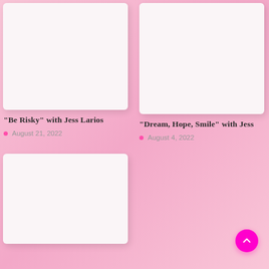[Figure (photo): White/off-white card image placeholder, top left]
“Be Risky” with Jess Larios
August 21, 2022
[Figure (photo): White/off-white card image placeholder, top right]
“Dream, Hope, Smile” with Jess
August 4, 2022
[Figure (photo): White/off-white card image placeholder, bottom left, partially visible]